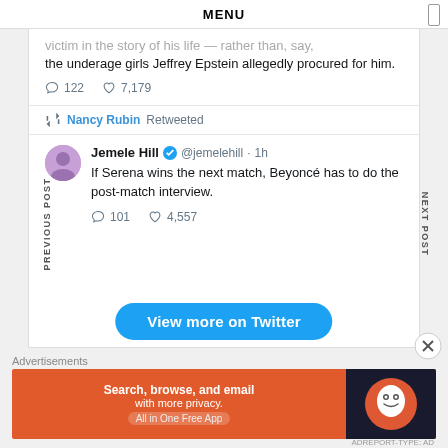MENU
victim in the story of his life — rather than, say, the underage girls Jeffrey Epstein allegedly procured for him.
122 | 7,179
Nancy Rubin Retweeted
Jemele Hill @jemelehill · 1h If Serena wins the next match, Beyoncé has to do the post-match interview.
101 | 4,557
View more on Twitter
Advertisements
[Figure (screenshot): DuckDuckGo advertisement banner: 'Search, browse, and email with more privacy. All in One Free App' with duck logo on dark background]